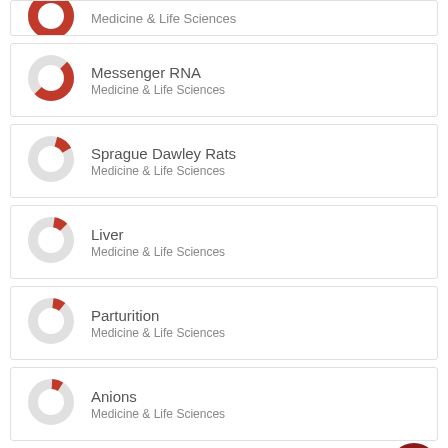Medicine & Life Sciences (partial top)
Messenger RNA — Medicine & Life Sciences
Sprague Dawley Rats — Medicine & Life Sciences
Liver — Medicine & Life Sciences
Parturition — Medicine & Life Sciences
Anions — Medicine & Life Sciences
View full fingerprint >